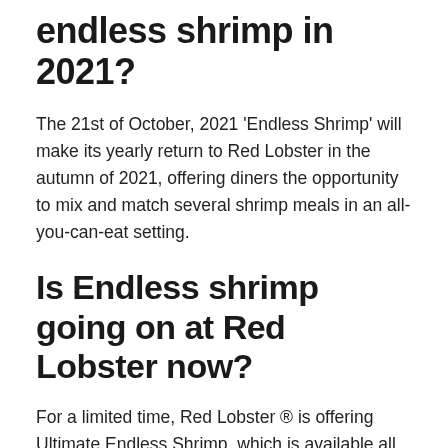endless shrimp in 2021?
The 21st of October, 2021 'Endless Shrimp' will make its yearly return to Red Lobster in the autumn of 2021, offering diners the opportunity to mix and match several shrimp meals in an all-you-can-eat setting.
Is Endless shrimp going on at Red Lobster now?
For a limited time, Red Lobster ® is offering Ultimate Endless Shrimp, which is available all day, every day.
How often does Red